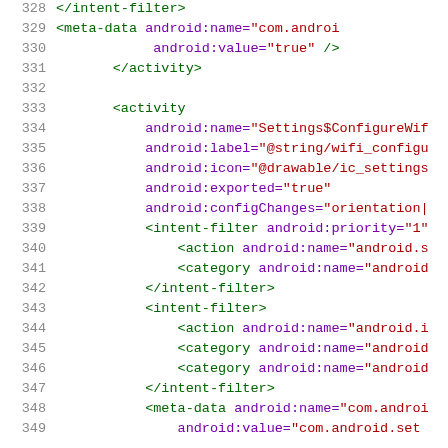[Figure (screenshot): Source code viewer showing XML Android manifest lines 328-349 with syntax highlighting: line numbers in gray, XML tags in green, attributes in purple, attribute values in dark red.]